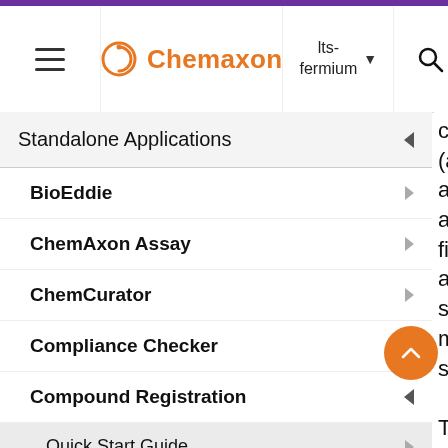Chemaxon | lts-fermium
Standalone Applications
BioEddie
ChemAxon Assay
ChemCurator
Compliance Checker
Compound Registration
Quick Start Guide
Compound Registration User's G...
Overview
check (and appro auto fixing) and struct match steps. The first p is